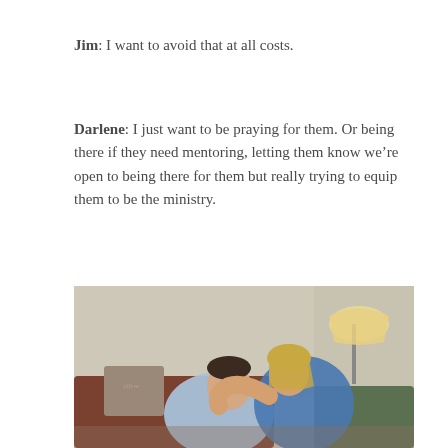Jim: I want to avoid that at all costs.
Darlene: I just want to be praying for them. Or being there if they need mentoring, letting them know we’re open to being there for them but really trying to equip them to be the ministry.
[Figure (photo): A couple sitting together on a couch, the woman embracing the man's head affectionately, both smiling. A floor lamp is visible in the background.]